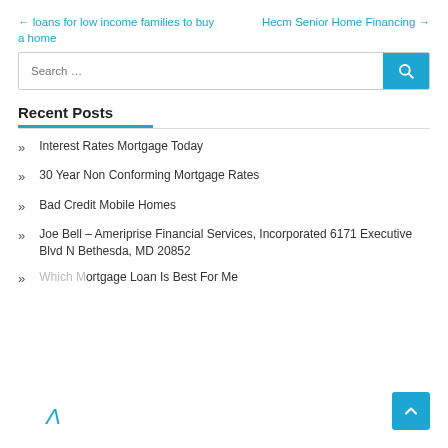← loans for low income families to buy a home
Hecm Senior Home Financing →
Search …
Recent Posts
Interest Rates Mortgage Today
30 Year Non Conforming Mortgage Rates
Bad Credit Mobile Homes
Joe Bell – Ameriprise Financial Services, Incorporated 6171 Executive Blvd N Bethesda, MD 20852
Which Mortgage Loan Is Best For Me